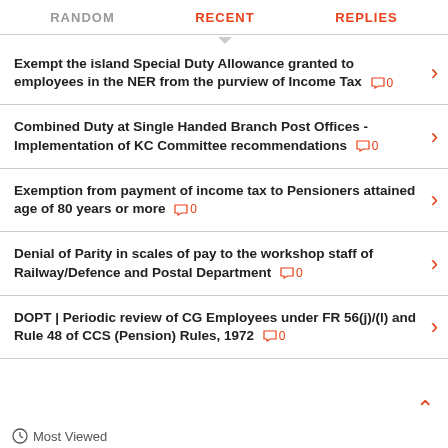RANDOM  RECENT  REPLIES
Exempt the island Special Duty Allowance granted to employees in the NER from the purview of Income Tax 💬0
Combined Duty at Single Handed Branch Post Offices - Implementation of KC Committee recommendations 💬0
Exemption from payment of income tax to Pensioners attained age of 80 years or more 💬0
Denial of Parity in scales of pay to the workshop staff of Railway/Defence and Postal Department 💬0
DOPT | Periodic review of CG Employees under FR 56(j)/(l) and Rule 48 of CCS (Pension) Rules, 1972 💬0
Most Viewed